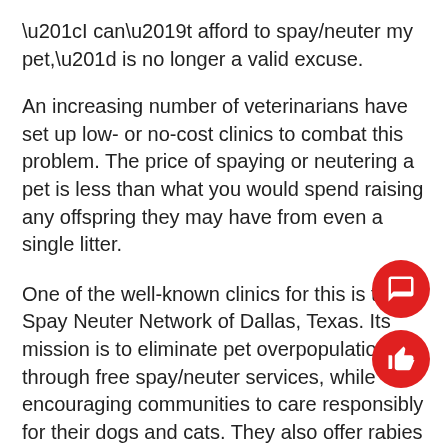“I can’t afford to spay/neuter my pet,” is no longer a valid excuse.
An increasing number of veterinarians have set up low- or no-cost clinics to combat this problem. The price of spaying or neutering a pet is less than what you would spend raising any offspring they may have from even a single litter.
One of the well-known clinics for this is the Spay Neuter Network of Dallas, Texas. Its mission is to eliminate pet overpopulation through free spay/neuter services, while encouraging communities to care responsibly for their dogs and cats. They also offer rabies and parvo + distemper vaccinations, and microchipping to all residents of Dallas County.
Another major benefit that comes with spaying and neutering, other than unwanted pregnancies, is